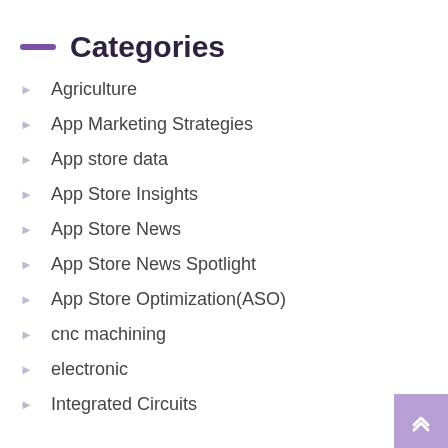Categories
Agriculture
App Marketing Strategies
App store data
App Store Insights
App Store News
App Store News Spotlight
App Store Optimization(ASO)
cnc machining
electronic
Integrated Circuits